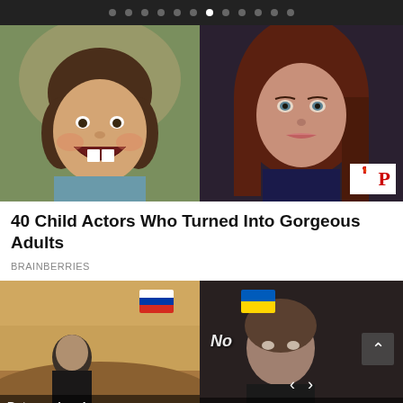Navigation dots
[Figure (photo): Two-panel image: left panel shows a young girl laughing with missing front teeth; right panel shows a young woman with long auburn hair. iP logo overlay in bottom right corner.]
40 Child Actors Who Turned Into Gorgeous Adults
BRAINBERRIES
[Figure (photo): Two-panel image: left panel shows a man outdoors with a Russian flag emoji overlay and caption 'Put your hands up.'; right panel shows an older man with a Ukrainian flag emoji overlay and caption 'No' and text 'A Tale of Two Surveys (Are the ...']
Democrat Leader Slanders Trump